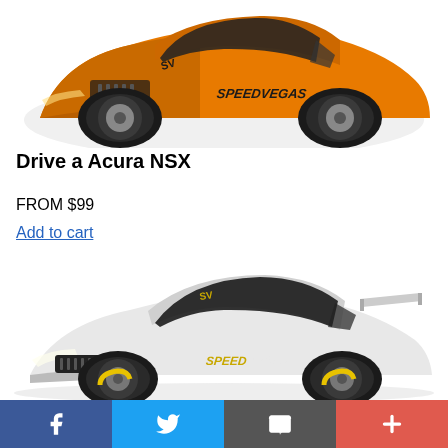[Figure (photo): Orange Acura NSX sports car with SpeedVegas branding on the side]
Drive a Acura NSX
FROM $99
Add to cart
[Figure (photo): White Porsche 911 GT3 sports car with SpeedVegas branding on the side]
Facebook | Twitter | Email | Plus (social sharing buttons)